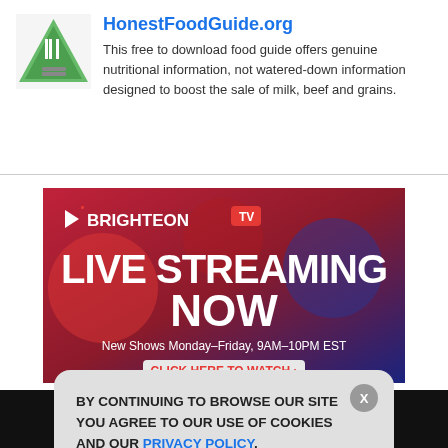[Figure (logo): HonestFoodGuide.org logo - green triangle with fork/knife icon]
HonestFoodGuide.org
This free to download food guide offers genuine nutritional information, not watered-down information designed to boost the sale of milk, beef and grains.
[Figure (screenshot): Brighteon TV Live Streaming Now advertisement banner. Text: LIVE STREAMING NOW, New Shows Monday–Friday, 9AM–10PM EST, CLICK HERE TO WATCH]
GET THE WORLD'S BEST NATURAL HEALTH NEWSLETTER DELIVERED STRAIGHT TO YOUR INBOX
[Figure (screenshot): Cookie consent overlay: BY CONTINUING TO BROWSE OUR SITE YOU AGREE TO OUR USE OF COOKIES AND OUR PRIVACY POLICY. Agree and close button.]
BY CONTINUING TO BROWSE OUR SITE YOU AGREE TO OUR USE OF COOKIES AND OUR PRIVACY POLICY.
Agree and close